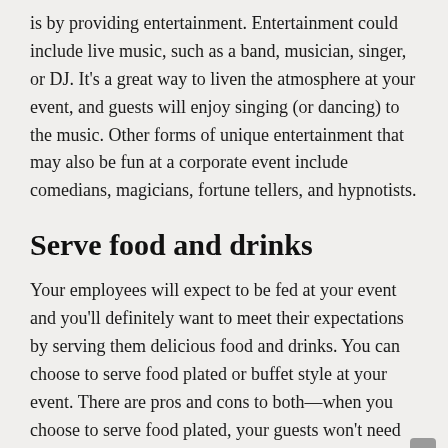is by providing entertainment. Entertainment could include live music, such as a band, musician, singer, or DJ. It's a great way to liven the atmosphere at your event, and guests will enjoy singing (or dancing) to the music. Other forms of unique entertainment that may also be fun at a corporate event include comedians, magicians, fortune tellers, and hypnotists.
Serve food and drinks
Your employees will expect to be fed at your event and you'll definitely want to meet their expectations by serving them delicious food and drinks. You can choose to serve food plated or buffet style at your event. There are pros and cons to both—when you choose to serve food plated, your guests won't need to congregate around a buffet table. Plated service can be beneficial because everyone